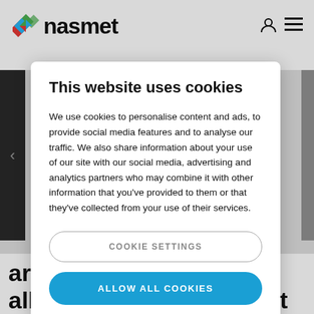[Figure (logo): Nasmet logo with colored diamond icon and bold sans-serif text]
This website uses cookies
We use cookies to personalise content and ads, to provide social media features and to analyse our traffic. We also share information about your use of our site with our social media, advertising and analytics partners who may combine it with other information that you've provided to them or that they've collected from your use of their services.
COOKIE SETTINGS
ALLOW ALL COOKIES
arthership with Gasmet allows customers to rest